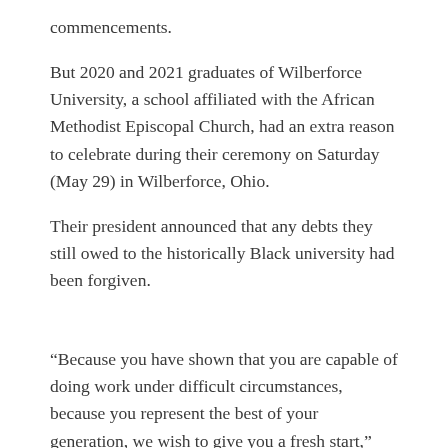commencements.
But 2020 and 2021 graduates of Wilberforce University, a school affiliated with the African Methodist Episcopal Church, had an extra reason to celebrate during their ceremony on Saturday (May 29) in Wilberforce, Ohio.
Their president announced that any debts they still owed to the historically Black university had been forgiven.
“Because you have shown that you are capable of doing work under difficult circumstances, because you represent the best of your generation, we wish to give you a fresh start,” said President Elfred Anthony Pinkard. “So therefore the Wilberforce